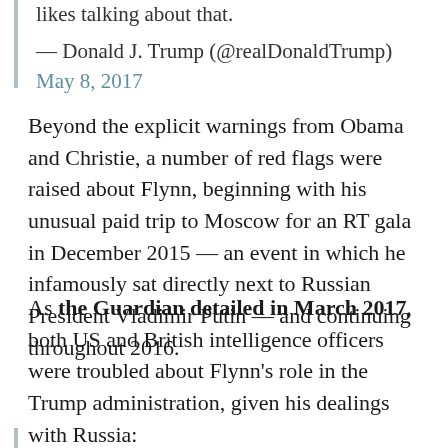likes talking about that.
— Donald J. Trump (@realDonaldTrump) May 8, 2017
Beyond the explicit warnings from Obama and Christie, a number of red flags were raised about Flynn, beginning with his unusual paid trip to Moscow for an RT gala in December 2015 — an event in which he infamously sat directly next to Russian President Vladimir Putin — and continuing throughout 2016.
As the Guardian detailed in March 2017, both US and British intelligence officers were troubled about Flynn's role in the Trump administration, given his dealings with Russia: